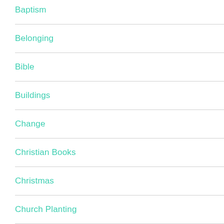Baptism
Belonging
Bible
Buildings
Change
Christian Books
Christmas
Church Planting
Commission Churches